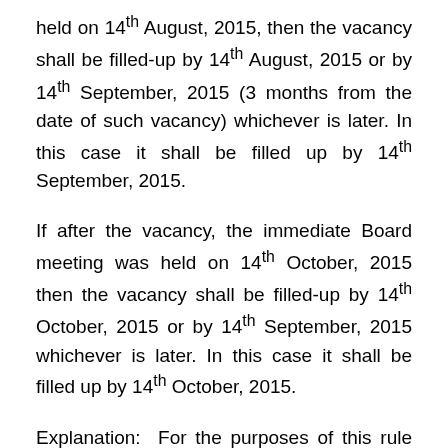held on 14th August, 2015, then the vacancy shall be filled-up by 14th August, 2015 or by 14th September, 2015 (3 months from the date of such vacancy) whichever is later. In this case it shall be filled up by 14th September, 2015.
If after the vacancy, the immediate Board meeting was held on 14th October, 2015 then the vacancy shall be filled-up by 14th October, 2015 or by 14th September, 2015 whichever is later. In this case it shall be filled up by 14th October, 2015.
Explanation: For the purposes of this rule (woman director on board), it is clarified that the paid up share capital or turnover, as the case may be, as on the last date of latest audited financial statements shall be taken into account.